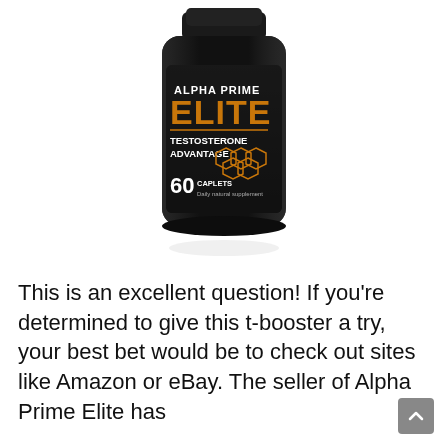[Figure (photo): Black supplement bottle labeled 'Alpha Prime Elite - Testosterone Advantage - 60 Caplets Daily natural supplement' with orange hexagon graphics on the label]
This is an excellent question! If you're determined to give this t-booster a try, your best bet would be to check out sites like Amazon or eBay. The seller of Alpha Prime Elite has